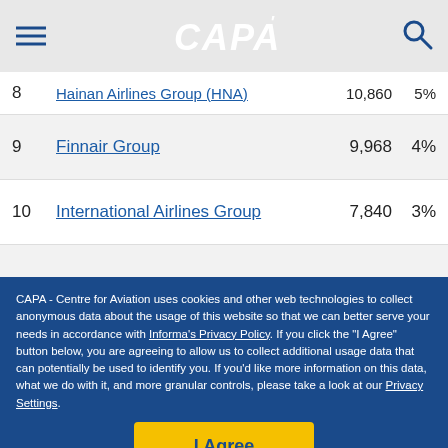CAPA
| # | Airline Group | Value | % |
| --- | --- | --- | --- |
| 8 | Hainan Airlines Group (HNA) | 10,860 | 5% |
| 9 | Finnair Group | 9,968 | 4% |
| 10 | International Airlines Group | 7,840 | 3% |
CAPA - Centre for Aviation uses cookies and other web technologies to collect anonymous data about the usage of this website so that we can better serve your needs in accordance with Informa's Privacy Policy. If you click the "I Agree" button below, you are agreeing to allow us to collect additional usage data that can potentially be used to identify you. If you'd like more information on this data, what we do with it, and more granular controls, please take a look at our Privacy Settings.